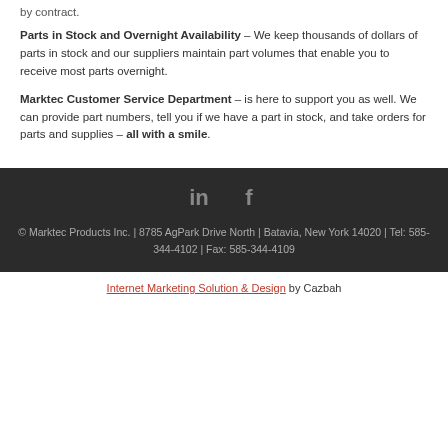by contract.
Parts in Stock and Overnight Availability – We keep thousands of dollars of parts in stock and our suppliers maintain part volumes that enable you to receive most parts overnight.
Marktec Customer Service Department – is here to support you as well. We can provide part numbers, tell you if we have a part in stock, and take orders for parts and supplies – all with a smile.
[Figure (illustration): LinkedIn and Facebook social media icons in dark footer]
© Marktec Products Inc. | 8785 AgPark Drive North | Batavia, New York 14020 | Tel: 585-344-4102 | Fax: 585-344-4109
Internet Marketing Solution & Design by Cazbah